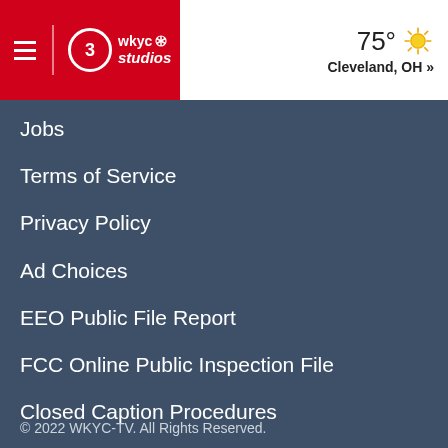WKYC Studios | 3 | 75° Cleveland, OH »
Jobs
Terms of Service
Privacy Policy
Ad Choices
EEO Public File Report
FCC Online Public Inspection File
Closed Caption Procedures
© 2022 WKYC-TV. All Rights Reserved.